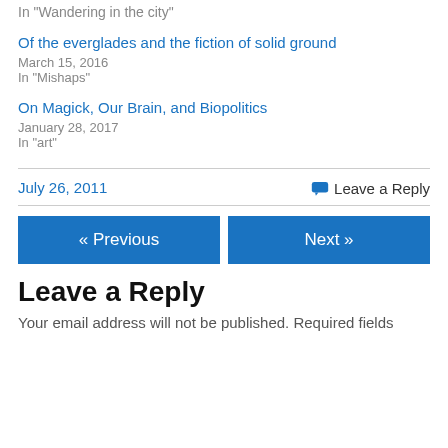In "Wandering in the city"
Of the everglades and the fiction of solid ground
March 15, 2016
In "Mishaps"
On Magick, Our Brain, and Biopolitics
January 28, 2017
In "art"
July 26, 2011
Leave a Reply
« Previous
Next »
Leave a Reply
Your email address will not be published. Required fields